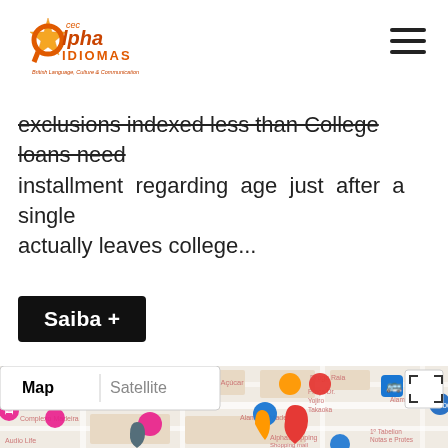[Figure (logo): CEC Alpha Idiomas logo with orange star and text 'British Language, Culture & Communication']
exclusions indexed less than college loans need installment regarding age just after a single actually leaves college...
Saiba +
[Figure (screenshot): Google Maps screenshot showing area near AlphaShopping in Barueri/Alphaville, Brazil. Map controls show Map and Satellite buttons. Labels visible: Sol Alphaville, Pão de Açúcar, Droga Raia, Praça Dr. Yojiro Takaoka, Alameda, Complexo Madeira, Alameda Madeira, AlphaShopping Shopping mall, 1º Tabelion Notas e Protes, Audio Life. Various map pins in red, orange, pink, blue colors.]